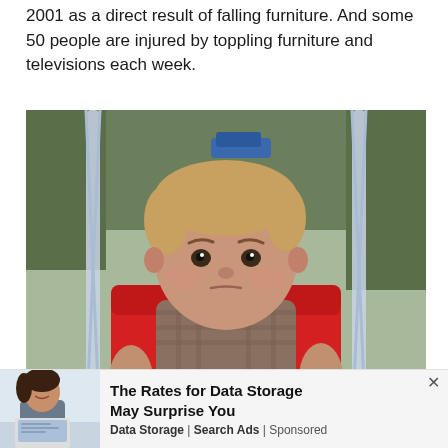2001 as a direct result of falling furniture. And some 50 people are injured by toppling furniture and televisions each week.
[Figure (photo): A baby/toddler with a serious expression sitting in a red plastic swing outdoors, holding the rope chains, with trees and a blue car visible in the background.]
[Figure (photo): Advertisement banner showing a smiling woman at a laptop on the left side.]
The Rates for Data Storage May Surprise You
Data Storage | Search Ads | Sponsored